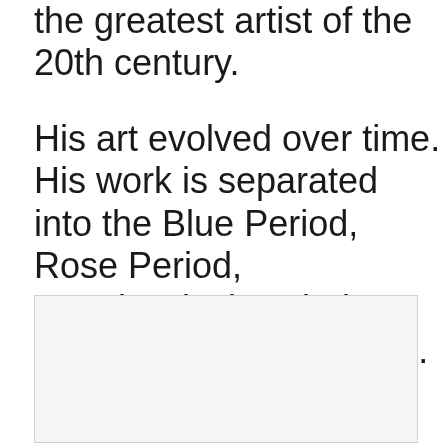the greatest artist of the 20th century.
His art evolved over time. His work is separated into the Blue Period, Rose Period, Neoclassical Period, Surrealism, and Cubism.
[Figure (other): A blank/placeholder image box with light gray background]